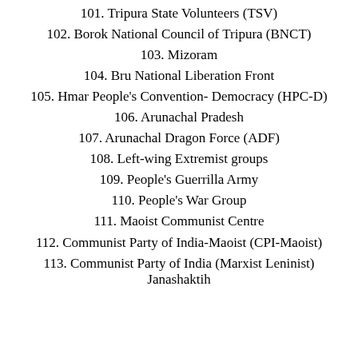101. Tripura State Volunteers (TSV)
102. Borok National Council of Tripura (BNCT)
103. Mizoram
104. Bru National Liberation Front
105. Hmar People's Convention- Democracy (HPC-D)
106. Arunachal Pradesh
107. Arunachal Dragon Force (ADF)
108. Left-wing Extremist groups
109. People's Guerrilla Army
110. People's War Group
111. Maoist Communist Centre
112. Communist Party of India-Maoist (CPI-Maoist)
113. Communist Party of India (Marxist Leninist) Janashaktih